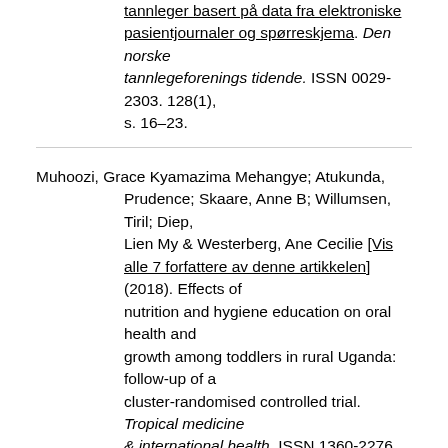tannleger basert på data fra elektroniske pasientjournaler og spørreskjema. Den norske tannlegeforenings tidende. ISSN 0029-2303. 128(1), s. 16–23.
Muhoozi, Grace Kyamazima Mehangye; Atukunda, Prudence; Skaare, Anne B; Willumsen, Tiril; Diep, Lien My & Westerberg, Ane Cecilie [Vis alle 7 forfattere av denne artikkelen] (2018). Effects of nutrition and hygiene education on oral health and growth among toddlers in rural Uganda: follow-up of a cluster-randomised controlled trial. Tropical medicine & international health. ISSN 1360-2276. 23(4), s. 391–404. doi: 10.1111/tmi.13036.
Fjeld, Katrine Gahre; Eide, Hilde; Mowe, Morten; Sandvik, Leiv & Willumsen, Tiril (2018). A 1-year follow-up of a